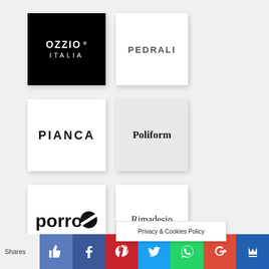[Figure (logo): Ozzio Italia logo — white text on black square background]
[Figure (logo): Pedrali logo — dark gray uppercase text on white square background]
[Figure (logo): Pianca logo — bold black uppercase text on white square background]
[Figure (logo): Poliform logo — serif black text on light gray square background]
[Figure (logo): Porro logo — bold black text with circular graphic on white square background]
[Figure (logo): Rimadesio logo — serif black text on white square background]
Privacy & Cookies Policy
Shares